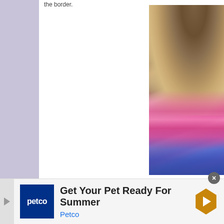the border.
[Figure (photo): Back view of a person with long brown hair wearing a pink/magenta crocheted or knitted cowl/scarf over a blue floral top]
Get Your Pet Ready For Summer
Petco